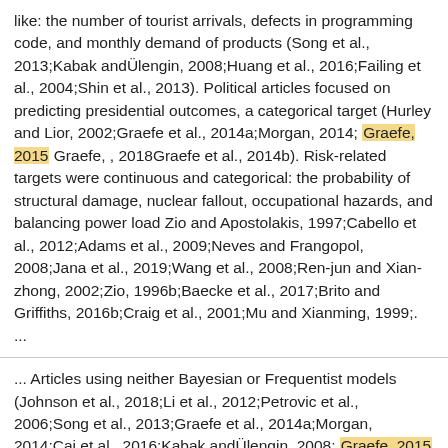like: the number of tourist arrivals, defects in programming code, and monthly demand of products (Song et al., 2013;Kabak andÜlengin, 2008;Huang et al., 2016;Failing et al., 2004;Shin et al., 2013). Political articles focused on predicting presidential outcomes, a categorical target (Hurley and Lior, 2002;Graefe et al., 2014a;Morgan, 2014; Graefe, 2015 Graefe, , 2018Graefe et al., 2014b). Risk-related targets were continuous and categorical: the probability of structural damage, nuclear fallout, occupational hazards, and balancing power load Zio and Apostolakis, 1997;Cabello et al., 2012;Adams et al., 2009;Neves and Frangopol, 2008;Jana et al., 2019;Wang et al., 2008;Ren-jun and Xian-zhong, 2002;Zio, 1996b;Baecke et al., 2017;Brito and Griffiths, 2016b;Craig et al., 2001;Mu and Xianming, 1999;. ...
... Articles using neither Bayesian or Frequentist models (Johnson et al., 2018;Li et al., 2012;Petrovic et al., 2006;Song et al., 2013;Graefe et al., 2014a;Morgan, 2014;Cai et al., 2016;Kabak andÜlengin, 2008; Graefe, 2015 Graefe, , 2018Failing et al., 2004;Ren-jun and Xian-zhong, 2002;Hora et al., 2013;Baron et al., 2014) resorted to: dynamical systems, simple averages of point estimates and quantiles from experts, and tree-based regression models.